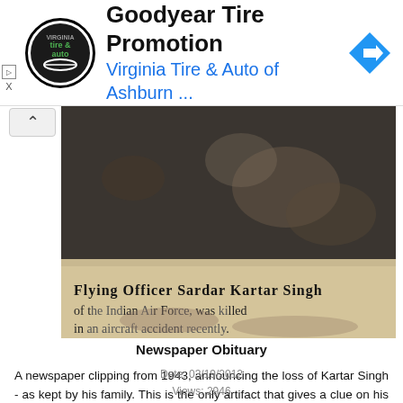[Figure (infographic): Advertisement banner for Goodyear Tire Promotion by Virginia Tire & Auto of Ashburn, featuring a circular tire and auto logo on the left and a blue navigation arrow diamond icon on the right.]
[Figure (photo): Scanned newspaper clipping showing text: Flying Officer Sardar Kartar Singh of the Indian Air Force, who was killed in an aircraft accident recently.]
Newspaper Obituary
A newspaper clipping from 1943, announcing the loss of Kartar Singh - as kept by his family. This is the only artifact that gives a clue on his loss.
Date: 03/19/2012
Views: 2946